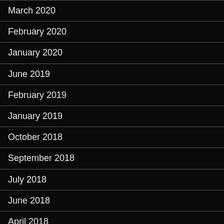March 2020
February 2020
January 2020
June 2019
February 2019
January 2019
October 2018
September 2018
July 2018
June 2018
April 2018
December 2017